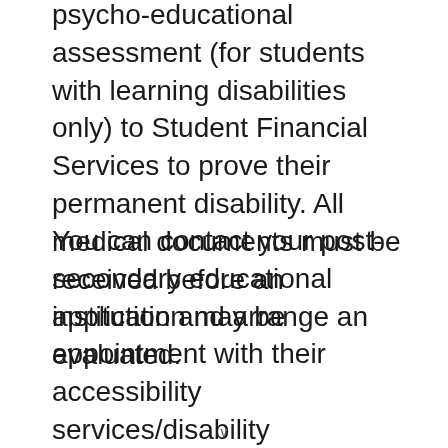psycho-educational assessment (for students with learning disabilities only) to Student Financial Services to prove their permanent disability. All medical documents must be received before an application may be evaluated.
You can contact your post-secondary educational institution and arrange an appointment with their accessibility services/disability coordinator once your student loan application has been assessed
v